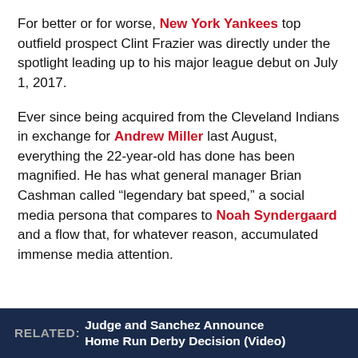For better or for worse, New York Yankees top outfield prospect Clint Frazier was directly under the spotlight leading up to his major league debut on July 1, 2017.
Ever since being acquired from the Cleveland Indians in exchange for Andrew Miller last August, everything the 22-year-old has done has been magnified. He has what general manager Brian Cashman called “legendary bat speed,” a social media persona that compares to Noah Syndergaard and a flow that, for whatever reason, accumulated immense media attention.
RELATED: Judge and Sanchez Announce Home Run Derby Decision (Video)